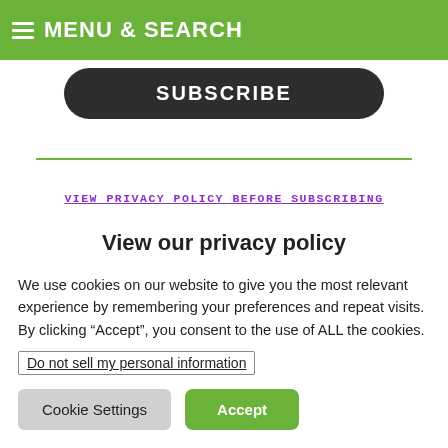MENU & SEARCH
[Figure (screenshot): Dark rounded rectangle button with text SUBSCRIBE in white uppercase letters]
VIEW PRIVACY POLICY BEFORE SUBSCRIBING
View our privacy policy
We use cookies on our website to give you the most relevant experience by remembering your preferences and repeat visits. By clicking “Accept”, you consent to the use of ALL the cookies.
Do not sell my personal information
Cookie Settings  Accept